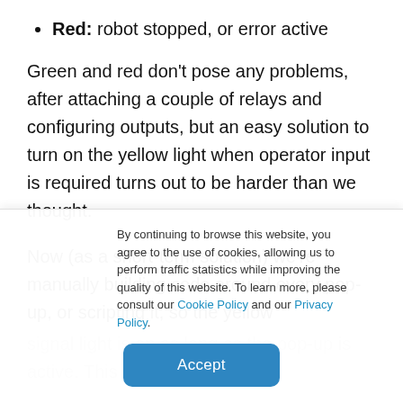Red: robot stopped, or error active
Green and red don't pose any problems, after attaching a couple of relays and configuring outputs, but an easy solution to turn on the yellow light when operator input is required turns out to be harder than we thought.
Now (as a short-term solution) we're manually building code around every pop-up, or scripting it, so the yellow signal light is on as long as the pop-up is active. This
By continuing to browse this website, you agree to the use of cookies, allowing us to perform traffic statistics while improving the quality of this website. To learn more, please consult our Cookie Policy and our Privacy Policy.
Accept